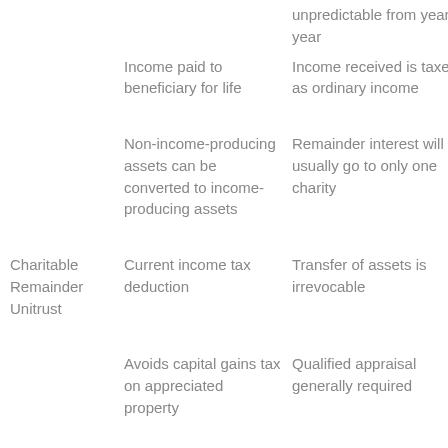|  | Benefits | Considerations |
| --- | --- | --- |
| Income Fund (cont.) | Income paid to beneficiary for life | unpredictable from year to year
Income received is taxed as ordinary income |
|  | Non-income-producing assets can be converted to income-producing assets | Remainder interest will usually go to only one charity |
| Charitable Remainder Unitrust | Current income tax deduction | Transfer of assets is irrevocable |
|  | Avoids capital gains tax on appreciated property | Qualified appraisal generally required
Complex administration and setup |
|  | Reduce future estate taxes | Distributions to noncharitable |